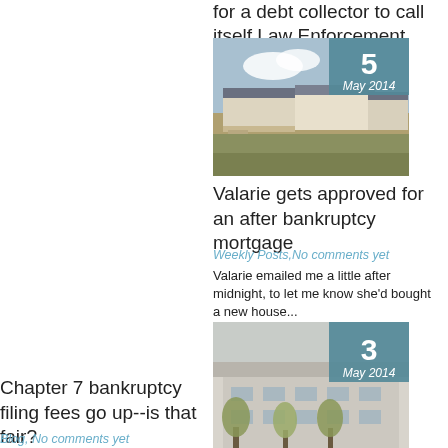for a debt collector to call itself Law Enforcement S...
[Figure (photo): Mobile homes / prefab houses with a date badge showing '5 May 2014']
Valarie gets approved for an after bankruptcy mortgage
Weekly Posts, No comments yet
Valarie emailed me a little after midnight, to let me know she'd bought a new house...
[Figure (photo): Urban building exterior with trees, date badge showing '3 May 2014']
Chapter 7 bankruptcy filing fees go up--is that fair?
Blog, No comments yet